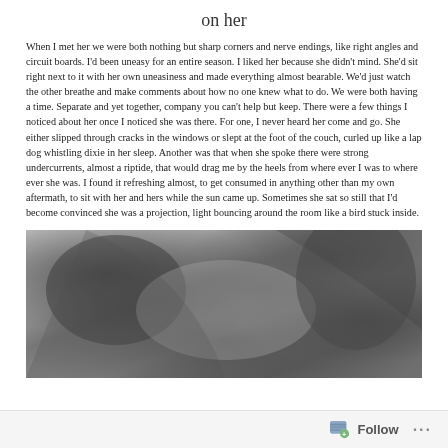on her
When I met her we were both nothing but sharp corners and nerve endings, like right angles and circuit boards. I'd been uneasy for an entire season. I liked her because she didn't mind. She'd sit right next to it with her own uneasiness and made everything almost bearable. We'd just watch the other breathe and make comments about how no one knew what to do. We were both having a time. Separate and yet together, company you can't help but keep. There were a few things I noticed about her once I noticed she was there. For one, I never heard her come and go. She either slipped through cracks in the windows or slept at the foot of the couch, curled up like a lap dog whistling dixie in her sleep. Another was that when she spoke there were strong undercurrents, almost a riptide, that would drag me by the heels from where ever I was to where ever she was. I found it refreshing almost, to get consumed in anything other than my own aftermath, to sit with her and hers while the sun came up. Sometimes she sat so still that I'd become convinced she was a projection, light bouncing around the room like a bird stuck inside.
[Figure (photo): Close-up black and white photograph, appears to show abstract body or face details in grayscale tones]
Follow  ···